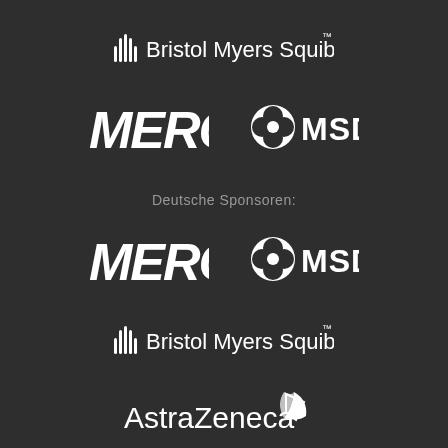[Figure (logo): Bristol Myers Squibb logo in white, top center]
[Figure (logo): Merck logo in white, top left of center pair]
[Figure (logo): MSD logo in white, top right of center pair]
Deutsche Sponsoren:
[Figure (logo): Merck logo in white, bottom left of center pair]
[Figure (logo): MSD logo in white, bottom right of center pair]
[Figure (logo): Bristol Myers Squibb logo in white, lower center]
[Figure (logo): AstraZeneca logo in white, bottom center]